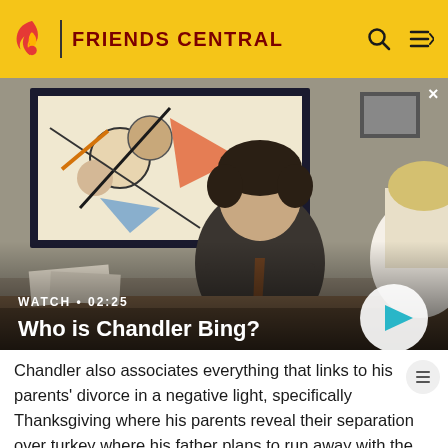FRIENDS CENTRAL
[Figure (screenshot): Video thumbnail showing a man in a suit sitting at a desk in an office, with artwork on the wall behind him. A woman with blonde hair is visible on the right. Overlay text reads 'WATCH • 02:25' and 'Who is Chandler Bing?' with a play button.]
WATCH • 02:25
Who is Chandler Bing?
Chandler also associates everything that links to his parents' divorce in a negative light, specifically Thanksgiving where his parents reveal their separation over turkey where his father plans to run away with the pool boy. This also associates with his mistrust of people in adult relationships. Becoming extremely paranoid when